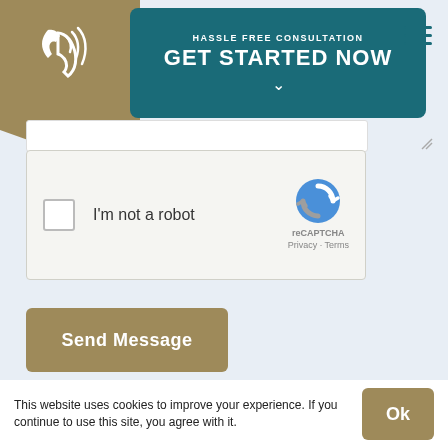[Figure (screenshot): Website header with teal 'Hassle Free Consultation - GET STARTED NOW' button and hamburger menu icon]
[Figure (screenshot): reCAPTCHA widget with checkbox labeled 'I'm not a robot' and reCAPTCHA logo with Privacy and Terms links]
[Figure (screenshot): Gold/tan 'Send Message' button]
[Figure (screenshot): Logo carousel showing CASCADE, Alside, and Ameri... logos with left and right navigation arrows]
This website uses cookies to improve your experience. If you continue to use this site, you agree with it.